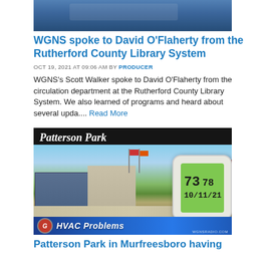[Figure (photo): Partial image of boats/water scene, blue toned]
WGNS spoke to David O'Flaherty from the Rutherford County Library System
OCT 19, 2021 AT 09:06 AM BY PRODUCER
WGNS's Scott Walker spoke to David O'Flaherty from the circulation department at the Rutherford County Library System. We also learned of programs and heard about several upda.... Read More
[Figure (photo): Patterson Park building photo with thermostat overlay showing 73/78 degrees and date 10/11/21, HVAC Problems bar at bottom]
Patterson Park in Murfreesboro having